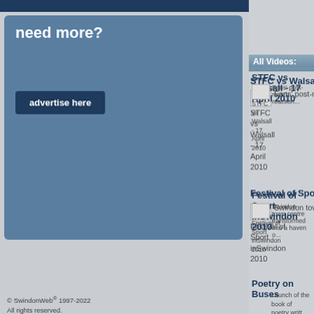need more?
advertise here
© SwindonWeb® 1997-2022 All rights reserved. SwindonWeb is a registered trademark.
All Videos:
STFC vs Walsall - 17 April 2010
Fans' post-match reaction...
STFC vs Walsall - 17 April 2010
Festival of Sport inSwindon 2010
Swindon town centre transformed into a haven o...
Festival of Sport inSwindon 2010
Poetry on Buses
Launch of the book of poetry writt... passengers on Swindon buses...
Simon Stead Interview - 15 April 2010
We interview the speedway rider... Wolverhampton...